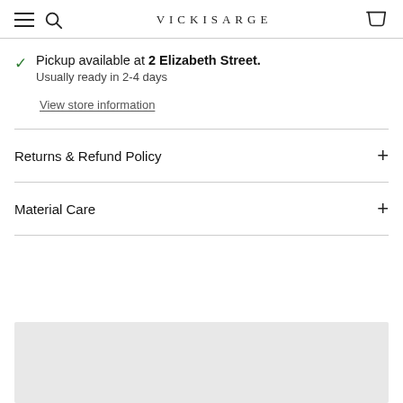VICKISARGE
Pickup available at 2 Elizabeth Street. Usually ready in 2-4 days
View store information
Returns & Refund Policy
Material Care